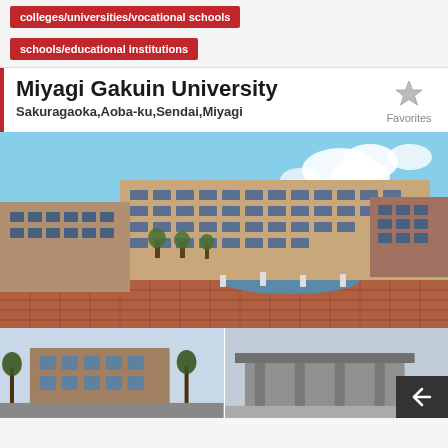colleges/universities/vocational schools
schools/educational institutions
Miyagi Gakuin University
Sakuragaoka,Aoba-ku,Sendai,Miyagi
[Figure (photo): Campus building of Miyagi Gakuin University with brick plaza, pond, trees, and blue sky]
[Figure (photo): Secondary campus building view - brick building with trees]
[Figure (photo): Secondary campus building view - modern entrance structure]